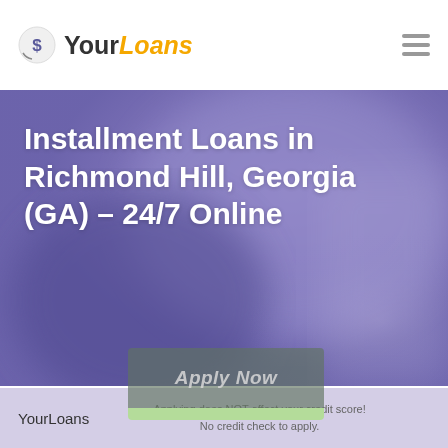[Figure (logo): YourLoans logo with icon, 'Your' in dark bold and 'Loans' in gold italic bold]
[Figure (photo): Blurred purple/violet background hero image with a person partially visible on the right edge]
Installment Loans in Richmond Hill, Georgia (GA) – 24/7 Online
[Figure (other): Apply Now button with green accent at bottom, gray-green background]
YourLoans
Applying does NOT affect your credit score! No credit check to apply.